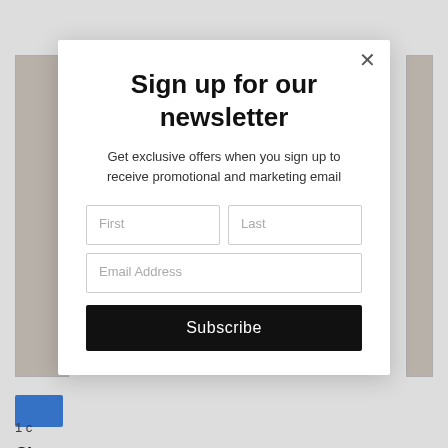[Figure (screenshot): Website background partially visible behind modal: product image on left, navigation bar, article text snippets including partial words 'Ch', 'Em', 'Ja', number '12', blue link 'nts', and a blue button on the left side.]
Sign up for our newsletter
Get exclusive offers when you sign up to receive promotional and marketing email
First
Last
Email Address
Subscribe